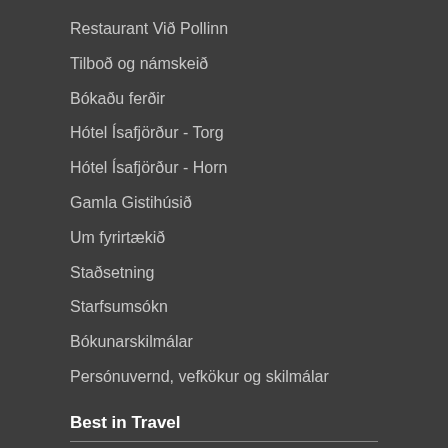Restaurant Við Pollinn
Tilboð og námskeið
Bókaðu ferðir
Hótel Ísafjörður - Torg
Hótel Ísafjörður - Horn
Gamla Gistihúsið
Um fyrirtækið
Staðsetning
Starfsumsókn
Bókunarskilmálar
Persónuvernd, vefkökur og skilmálar
Best in Travel
Lonely Planet völdu Vestfirði sem besta áfangastaðinn 2022.
[Figure (logo): Lonely Planet logo with circle design]
[Figure (photo): Partial photo at bottom of page]